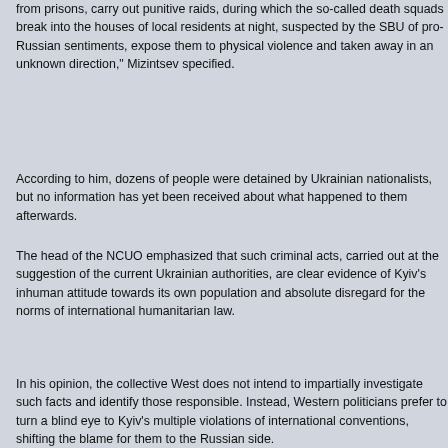from prisons, carry out punitive raids, during which the so-called death squads break into the houses of local residents at night, suspected by the SBU of pro-Russian sentiments, expose them to physical violence and taken away in an unknown direction," Mizintsev specified.
According to him, dozens of people were detained by Ukrainian nationalists, but no information has yet been received about what happened to them afterwards.
The head of the NCUO emphasized that such criminal acts, carried out at the suggestion of the current Ukrainian authorities, are clear evidence of Kyiv's inhuman attitude towards its own population and absolute disregard for the norms of international humanitarian law.
In his opinion, the collective West does not intend to impartially investigate such facts and identify those responsible. Instead, Western politicians prefer to turn a blind eye to Kyiv's multiple violations of international conventions, shifting the blame for them to the Russian side.
@ia_rossa (https://t.me/ia_rossa/18017)
Posted by: Richard Steven Hack | May 31 2022 23:02 utc | 94
karlof1 @ the above stated:
"'IMO, a treaty along the lines both Russia and Iran have suggeste...